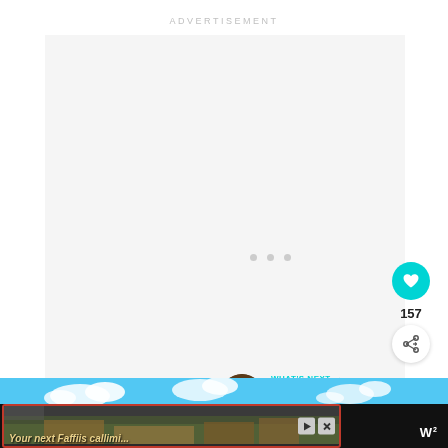ADVERTISEMENT
[Figure (other): Large advertisement placeholder area with light gray background and three small gray dots centered vertically]
[Figure (other): Circular cyan/teal like button with heart icon]
157
[Figure (other): Circular white share button with share icon]
WHAT'S NEXT → The Yucatan Peninsula's...
[Figure (photo): Bottom banner showing blue sky with clouds, travel destination image]
[Figure (other): Bottom ad bar with dark background, red-bordered advertisement showing landscape and yellow italic text 'Your next...' with play and close icons, and W logo]